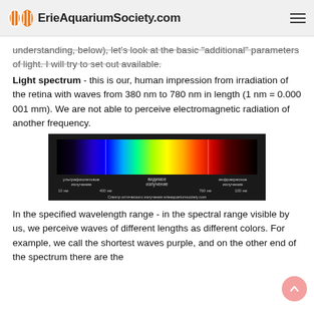ErieAquariumSociety.com
understanding, below), let's look at the basic "additional" parameters of light. I will try to set out available.
Light spectrum - this is our, human impression from irradiation of the retina with waves from 380 nm to 780 nm in length (1 nm = 0.000 001 mm). We are not able to perceive electromagnetic radiation of another frequency.
[Figure (illustration): Optical spectrum diagram showing ultraviolet, visible, and infrared radiation bands with a rainbow gradient bar. Russian text labels: ультрафиолетовое излучение (ultraviolet), видимое излучение (visible), инфракрасное излучение (infrared). Wavelength markers: 10 nm, 400 nm, 760 nm, 100 nm. Caption: Спектр оптического излучения erieaquariumsociety.com]
In the specified wavelength range - in the spectral range visible by us, we perceive waves of different lengths as different colors. For example, we call the shortest waves purple, and on the other end of the spectrum there are the